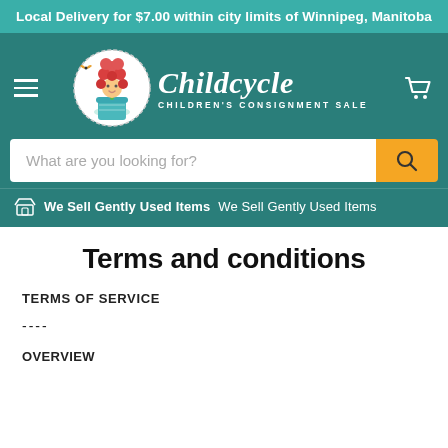Local Delivery for $7.00 within city limits of Winnipeg, Manitoba
[Figure (screenshot): Childcycle children's consignment sale website header with logo (girl in flower pot), brand name 'Childcycle', tagline 'CHILDREN'S CONSIGNMENT SALE', hamburger menu, cart icon, search bar with placeholder 'What are you looking for?', and sub-nav text 'We Sell Gently Used Items']
Terms and conditions
TERMS OF SERVICE
----
OVERVIEW